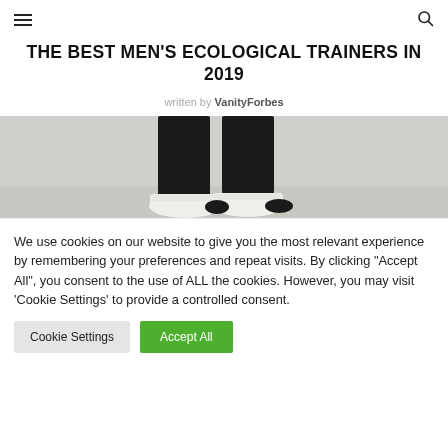≡  🔍
THE BEST MEN'S ECOLOGICAL TRAINERS IN 2019
written by VanityForbes
[Figure (photo): Close-up photo of person's legs in black trousers and white ecological trainers/sneakers against a white background]
We use cookies on our website to give you the most relevant experience by remembering your preferences and repeat visits. By clicking "Accept All", you consent to the use of ALL the cookies. However, you may visit 'Cookie Settings' to provide a controlled consent.
Cookie Settings   Accept All